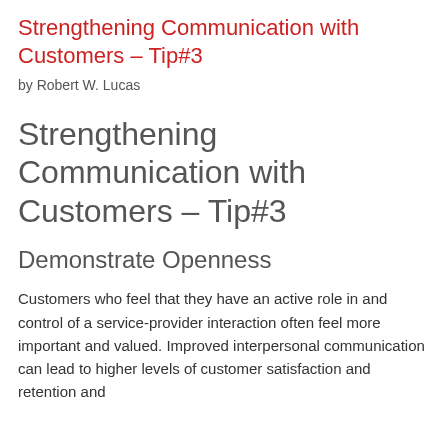Strengthening Communication with Customers – Tip#3
by Robert W. Lucas
Strengthening Communication with Customers – Tip#3
Demonstrate Openness
Customers who feel that they have an active role in and control of a service-provider interaction often feel more important and valued. Improved interpersonal communication can lead to higher levels of customer satisfaction and retention and